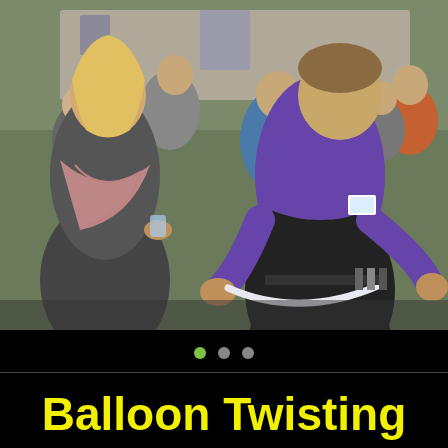[Figure (photo): A man in a purple shirt and black vest twists a long white balloon while a blonde woman in a scarf watches. Several other people are visible in the background at an outdoor gathering.]
Balloon Twisting